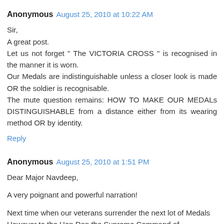Anonymous  August 25, 2010 at 10:22 AM
Sir,
A great post.
Let us not forget " The VICTORIA CROSS " is recognised in the manner it is worn.
Our Medals are indistinguishable unless a closer look is made OR the soldier is recognisable.
The mute question remains: HOW TO MAKE OUR MEDALs DISTINGUISHABLE from a distance either from its wearing method OR by identity.
Reply
Anonymous  August 25, 2010 at 1:51 PM
Dear Major Navdeep,

A very poignant and powerful narration!

Next time when our veterans surrender the next lot of Medals However to the Hon Ren the Supreme Command of...